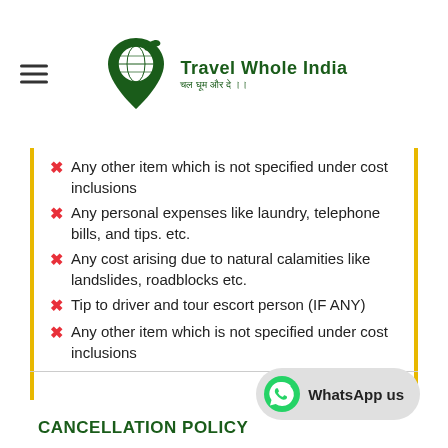[Figure (logo): Travel Whole India logo with globe icon and airplane, green color, text 'Travel Whole India' with Hindi subtitle]
Any other item which is not specified under cost inclusions
Any personal expenses like laundry, telephone bills, and tips. etc.
Any cost arising due to natural calamities like landslides, roadblocks etc.
Tip to driver and tour escort person (IF ANY)
Any other item which is not specified under cost inclusions
All applicable taxes
Travel Insurance
CANCELLATION POLICY